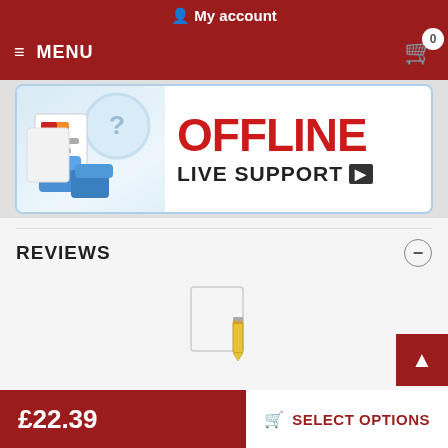My account
MENU  0
[Figure (screenshot): Offline Live Support banner with illustration of documents and blue 3D shapes on left, 'OFFLINE' in red bold text and 'LIVE SUPPORT ▶' in black bold text on right]
REVIEWS
[Figure (illustration): Small document/note icon with pencil — empty reviews placeholder]
£22.39   SELECT OPTIONS